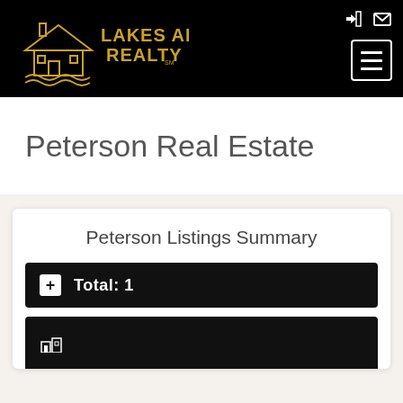[Figure (logo): Lakes Area Realty logo — gold outline of a house with chimney and waves, text 'LAKES AREA REALTY SM' in gold on black background]
Peterson Real Estate
Peterson Listings Summary
Total: 1